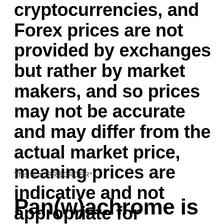cryptocurrencies, and Forex prices are not provided by exchanges but rather by market makers, and so prices may not be accurate and may differ from the actual market price, meaning prices are indicative and not appropriate for
This is a *PREORDER*.
Pan(w)achrome is a